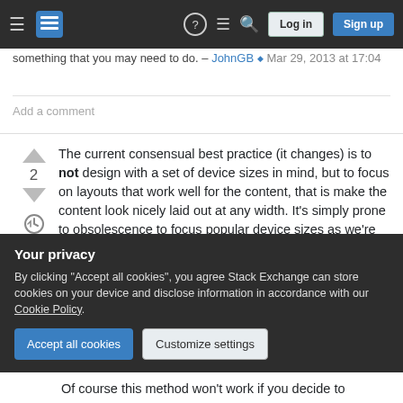Stack Exchange navigation bar with Log in and Sign up buttons
something that you may need to do. – JohnGB ◆ Mar 29, 2013 at 17:04
Add a comment
The current consensual best practice (it changes) is to not design with a set of device sizes in mind, but to focus on layouts that work well for the content, that is make the content look nicely laid out at any width. It's simply prone to obsolescence to focus popular device sizes as we're getting new devices all the time.
Your privacy
By clicking "Accept all cookies", you agree Stack Exchange can store cookies on your device and disclose information in accordance with our Cookie Policy.
Accept all cookies
Customize settings
Of course this method won't work if you decide to